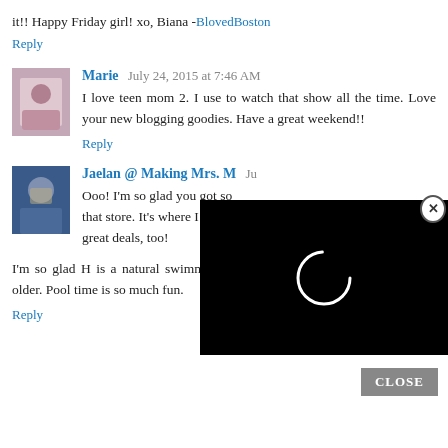it!! Happy Friday girl! xo, Biana - BlovedBoston
Reply
Marie  July 24, 2015 at 7:46 AM
I love teen mom 2. I use to watch that show all the time. Love your new blogging goodies. Have a great weekend!!
Reply
Jaelan @ Making Mrs. M  Ju...
[Figure (screenshot): Black video player overlay with white spinner circle, close X button in top right corner and CLOSE button in bottom right]
Ooo! I'm so glad you got so... that store. It's where I got m... great deals, too!
I'm so glad H is a natural swimmer! You will LOVE that as he gets older. Pool time is so much fun.
Reply